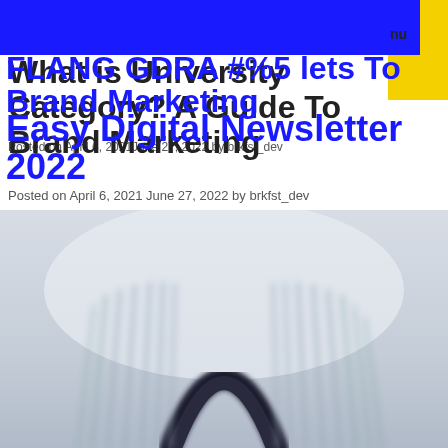University Category: Brand Marketing
What is University Category? A Guide to Brand Marketing
Easy Digital Newsletters 2022
Posted on April 6, 2021 June 27, 2022 by brkfst_dev
Posted on April 6, 2021 June 27, 2022 by brkfst_dev
[Figure (photo): Close-up blurred photo of forks or prongs with a dark arch shape in the center, light gray background]